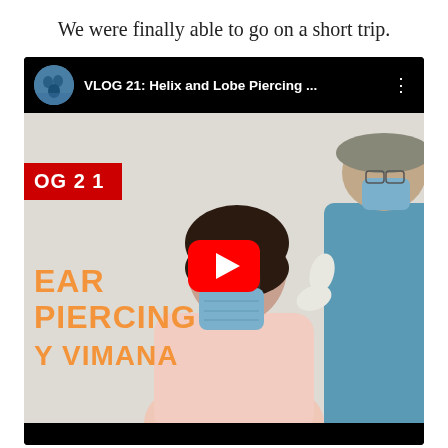We were finally able to go on a short trip.
[Figure (screenshot): YouTube video thumbnail showing 'VLOG 21: Helix and Lobe Piercing ...' with a channel icon, video title bar, and thumbnail image of a woman getting an ear piercing by a masked practitioner. Orange text reads 'EAR PIERCING Y VIMANA' on the left, red label 'OG 21', and a YouTube play button overlay.]